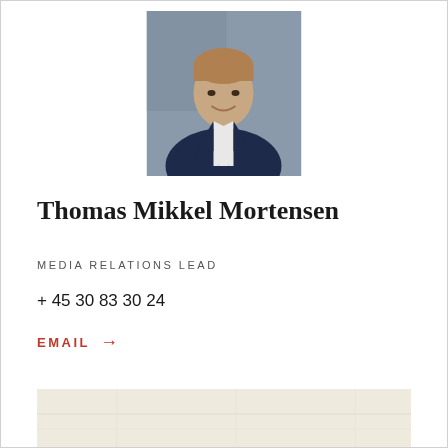[Figure (photo): Professional headshot of Thomas Mikkel Mortensen, a man in a dark navy suit and tie, smiling, photographed against a grey background]
Thomas Mikkel Mortensen
MEDIA RELATIONS LEAD
+ 45 30 83 30 24
EMAIL →
[Figure (map): Partial map shown at bottom of page with light beige/cream background]